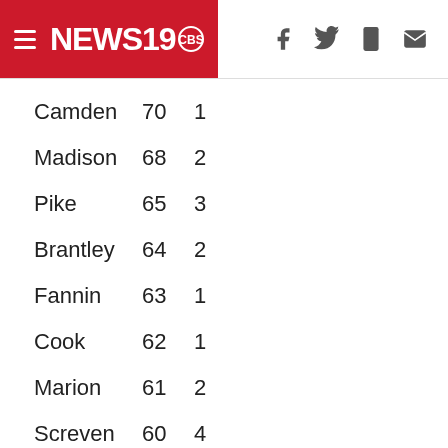[Figure (logo): NEWS19 CBS logo with hamburger menu icon on red background]
Camden  70  1
Madison  68  2
Pike  65  3
Brantley  64  2
Fannin  63  1
Cook  62  1
Marion  61  2
Screven  60  4
Stewart  60  1
Berrien  59  0
Pickens  59  4